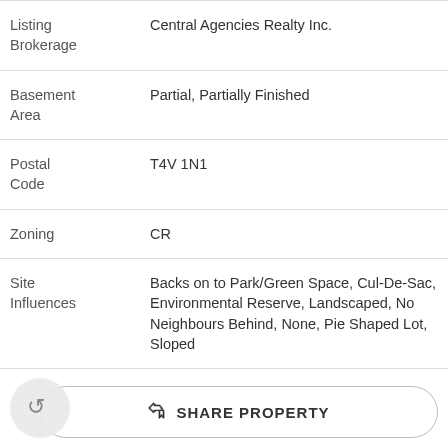| Field | Value |
| --- | --- |
| Listing Brokerage | Central Agencies Realty Inc. |
| Basement Area | Partial, Partially Finished |
| Postal Code | T4V 1N1 |
| Zoning | CR |
| Site Influences | Backs on to Park/Green Space, Cul-De-Sac, Environmental Reserve, Landscaped, No Neighbours Behind, None, Pie Shaped Lot, Sloped |
SHARE PROPERTY